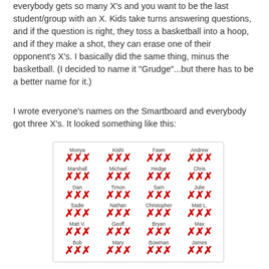everybody gets so many X's and you want to be the last student/group with an X. Kids take turns answering questions, and if the question is right, they toss a basketball into a hoop, and if they make a shot, they can erase one of their opponent's X's. I basically did the same thing, minus the basketball. (I decided to name it "Grudge"...but there has to be a better name for it.)
I wrote everyone's names on the Smartboard and everybody got three X's. It looked something like this:
[Figure (infographic): A grid showing student names each with three red X marks below them. Names: Monya, Kishi, Fawn, Andrew, Marshall, Michael, Hedge, Chris, Dan, Timon, Sam, Julie, Sadie, Nathan, Christopher, Matt L., Matt V., Geoff, Bryan, Max, Bob, Mary, Bowman, James]